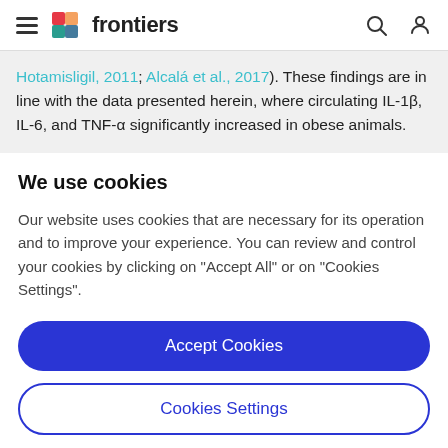frontiers (navigation bar with hamburger menu, logo, search and user icons)
Hotamisligil, 2011; Alcalá et al., 2017). These findings are in line with the data presented herein, where circulating IL-1β, IL-6, and TNF-α significantly increased in obese animals.
We use cookies
Our website uses cookies that are necessary for its operation and to improve your experience. You can review and control your cookies by clicking on "Accept All" or on "Cookies Settings".
Accept Cookies
Cookies Settings